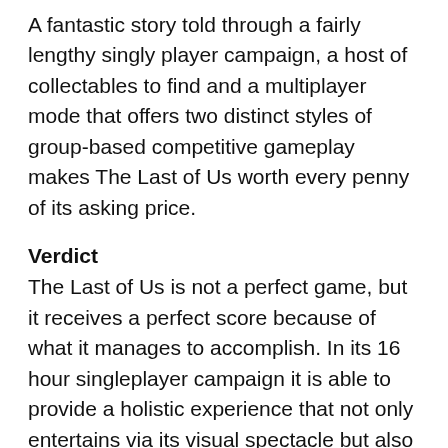A fantastic story told through a fairly lengthy singly player campaign, a host of collectables to find and a multiplayer mode that offers two distinct styles of group-based competitive gameplay makes The Last of Us worth every penny of its asking price.
Verdict
The Last of Us is not a perfect game, but it receives a perfect score because of what it manages to accomplish. In its 16 hour singleplayer campaign it is able to provide a holistic experience that not only entertains via its visual spectacle but also manages to rejuvenate gameplay of a genre thought dead.